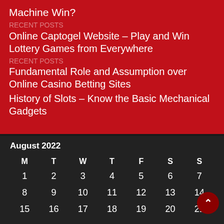Machine Win?
Online Captogel Website – Play and Win Lottery Games from Everywhere
Fundamental Role and Assumption over Online Casino Betting Sites
History of Slots – Know the Basic Mechanical Gadgets
August 2022
| M | T | W | T | F | S | S |
| --- | --- | --- | --- | --- | --- | --- |
| 1 | 2 | 3 | 4 | 5 | 6 | 7 |
| 8 | 9 | 10 | 11 | 12 | 13 | 14 |
| 15 | 16 | 17 | 18 | 19 | 20 | 21 |